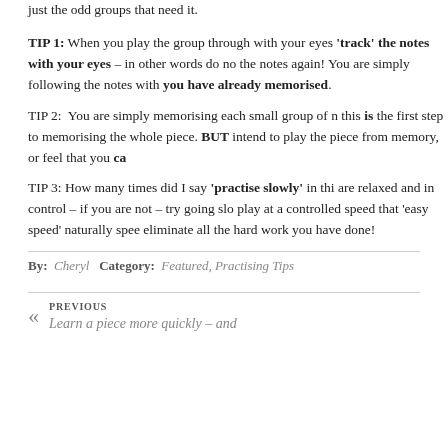just the odd groups that need it.
TIP 1: When you play the group through with your eyes 'track' the notes with your eyes – in other words do not the notes again! You are simply following the notes with you have already memorised.
TIP 2: You are simply memorising each small group of notes — this is the first step to memorising the whole piece. BUT intend to play the piece from memory, or feel that you ca
TIP 3: How many times did I say 'practise slowly' in this — are relaxed and in control – if you are not – try going slowly — play at a controlled speed that 'easy speed' naturally speeds — eliminate all the hard work you have done!
By: Cheryl   Category: Featured, Practising Tips
PREVIOUS
Learn a piece more quickly – and